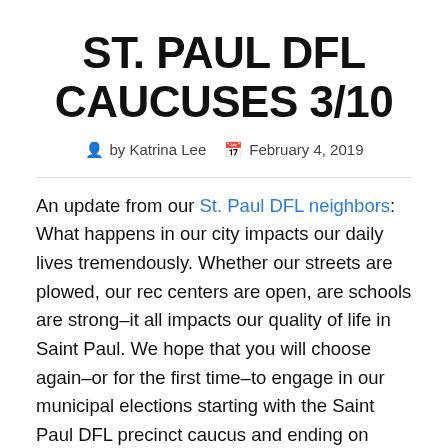ST. PAUL DFL CAUCUSES 3/10
by Katrina Lee   February 4, 2019
An update from our St. Paul DFL neighbors: What happens in our city impacts our daily lives tremendously. Whether our streets are plowed, our rec centers are open, are schools are strong–it all impacts our quality of life in Saint Paul. We hope that you will choose again–or for the first time–to engage in our municipal elections starting with the Saint Paul DFL precinct caucus and ending on Election Day on November 5, 2019.
In 2019, the Saint Paul DFL will be considering endorsements for all St. Paul city-elected f...